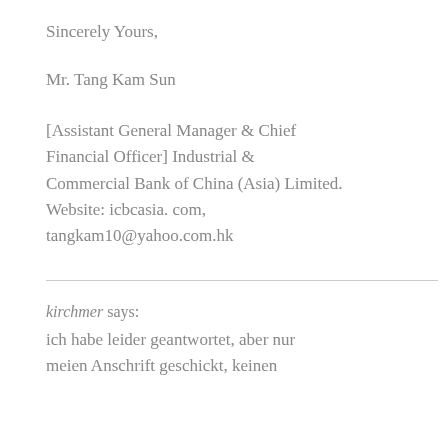Sincerely Yours,
Mr. Tang Kam Sun
[Assistant General Manager & Chief Financial Officer] Industrial & Commercial Bank of China (Asia) Limited. Website: icbcasia. com, tangkam10@yahoo.com.hk
kirchmer says: ich habe leider geantwortet, aber nur meien Anschrift geschickt, keinen